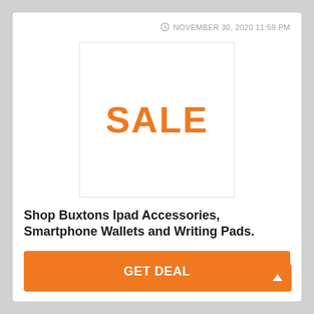NOVEMBER 30, 2020 11:59 PM
[Figure (illustration): White box with orange bold text 'SALE' centered inside, with a thin light gray border]
Shop Buxtons Ipad Accessories, Smartphone Wallets and Writing Pads.
GET DEAL
Expired but feel free to try